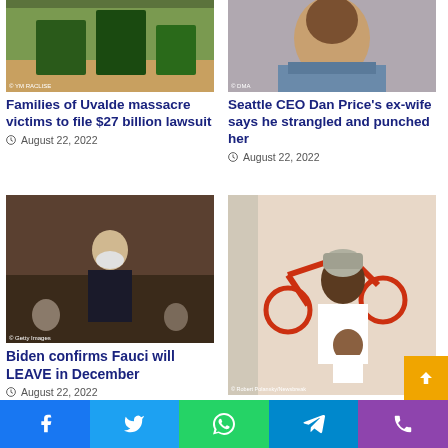[Figure (photo): Photo of Uvalde school classroom with green chairs visible]
Families of Uvalde massacre victims to file $27 billion lawsuit
August 22, 2022
[Figure (photo): Photo of a young woman smiling, wearing a plaid shirt]
Seattle CEO Dan Price's ex-wife says he strangled and punched her
August 22, 2022
[Figure (photo): Photo of Anthony Fauci wearing a mask in a hearing room]
Biden confirms Fauci will LEAVE in December
August 22, 2022
[Figure (photo): Photo of a young woman holding a baby, red bicycle in background]